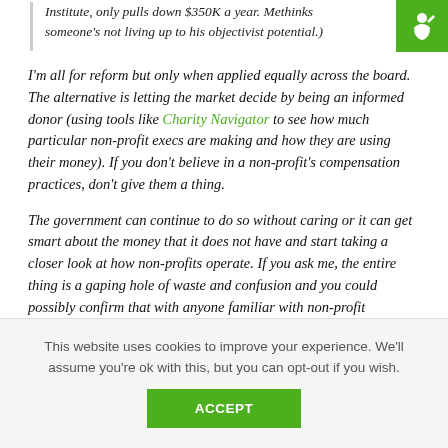Brook, President and Executive Director of the Ayn Rand Institute, only pulls down $350K a year. Methinks someone's not living up to his objectivist potential.)
I'm all for reform but only when applied equally across the board. The alternative is letting the market decide by being an informed donor (using tools like Charity Navigator to see how much particular non-profit execs are making and how they are using their money). If you don't believe in a non-profit's compensation practices, don't give them a thing.
The government can continue to do so without caring or it can get smart about the money that it does not have and start taking a closer look at how non-profits operate. If you ask me, the entire thing is a gaping hole of waste and confusion and you could possibly confirm that with anyone familiar with non-profit
This website uses cookies to improve your experience. We'll assume you're ok with this, but you can opt-out if you wish.